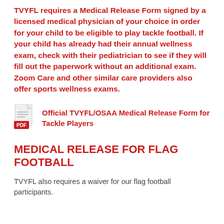TVYFL requires a Medical Release Form signed by a licensed medical physician of your choice in order for your child to be eligible to play tackle football.  If your child has already had their annual wellness exam, check with their pediatrician to see if they will fill out the paperwork without an additional exam.  Zoom Care and other similar care providers also offer sports wellness exams.
[Figure (other): PDF document icon with red PDF label badge]
Official TVYFL/OSAA Medical Release Form for Tackle Players
MEDICAL RELEASE FOR FLAG FOOTBALL
TVYFL also requires a waiver for our flag football participants.